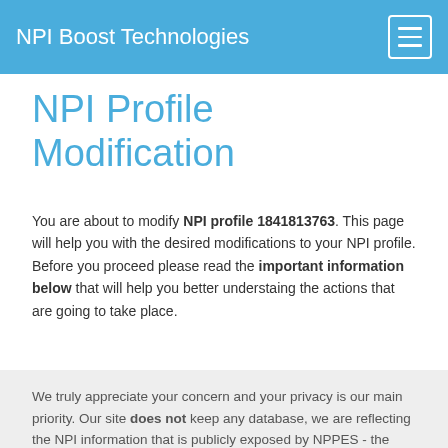NPI Boost Technologies
NPI Profile Modification
You are about to modify NPI profile 1841813763. This page will help you with the desired modifications to your NPI profile. Before you proceed please read the important information below that will help you better understaing the actions that are going to take place.
We truly appreciate your concern and your privacy is our main priority. Our site does not keep any database, we are reflecting the NPI information that is publicly exposed by NPPES - the governmental organization that issues NPI numbers. We encourage you to take a moment and alter your profile to hide any private information, cause it becomes publicly distributed in the internet by NPPES. You can alter or update your information using the instructions below.